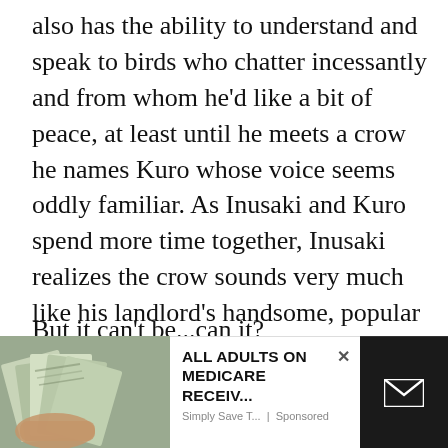also has the ability to understand and speak to birds who chatter incessantly and from whom he'd like a bit of peace, at least until he meets a crow he names Kuro whose voice seems oddly familiar. As Inusaki and Kuro spend more time together, Inusaki realizes the crow sounds very much like his landlord's handsome, popular son Mitsuru with whom he's also been growing closer.
But it can't be...can it?
As far as I can tell (and someone please correct me if I'm wrong, this whole theory is based on a lot of
[Figure (screenshot): Advertisement overlay at the bottom of the page. Left section shows a photo of hands holding papers/magazines. Center white section shows ad text 'ALL ADULTS ON MEDICARE RECEIV...' with a close (X) button and 'Simply Save T... | Sponsored' source line. Right dark section shows an email envelope icon on black background.]